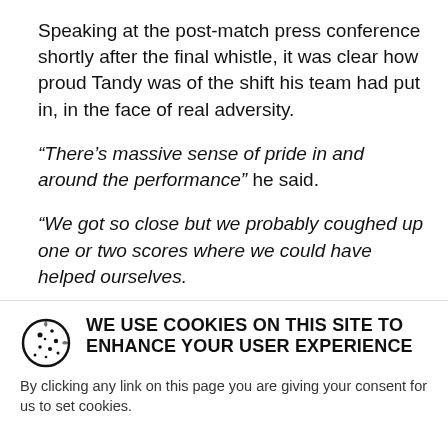Speaking at the post-match press conference shortly after the final whistle, it was clear how proud Tandy was of the shift his team had put in, in the face of real adversity.
“There’s massive sense of pride in and around the performance” he said.
“We got so close but we probably coughed up one or two scores where we could have helped ourselves.
"It would be easy to pick the bones out of the little bits and pieces we could have done better, but all in all, huge pride but disappointment we haven't done
WE USE COOKIES ON THIS SITE TO ENHANCE YOUR USER EXPERIENCE
By clicking any link on this page you are giving your consent for us to set cookies.